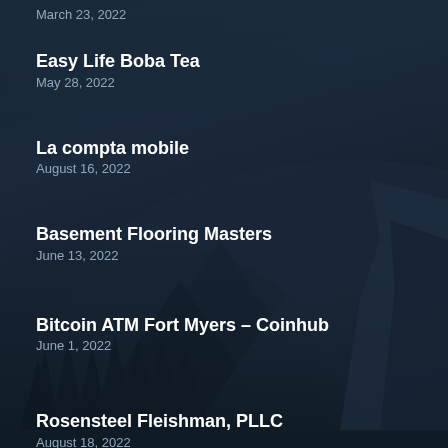March 23, 2022
Easy Life Boba Tea
May 28, 2022
La compta mobile
August 16, 2022
Basement Flooring Masters
June 13, 2022
Bitcoin ATM Fort Myers – Coinhub
June 1, 2022
Rosensteel Fleishman, PLLC
August 18, 2022